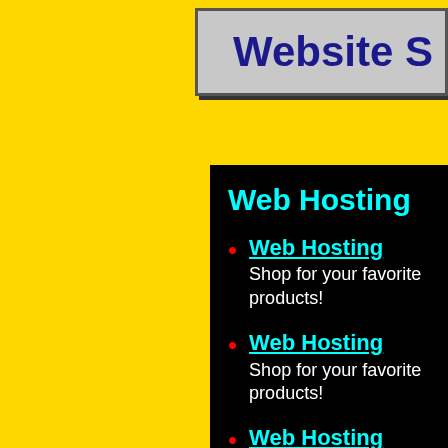Website S
Web Hosting
Web Hosting
Shop for your favorite products!
Web Hosting
Shop for your favorite products!
Web Hosting
Shop for your favorite products!
Web Hosting
Shop for your favorite products!